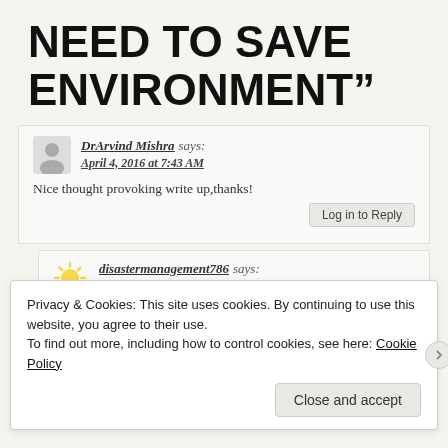NEED TO SAVE ENVIRONMENT”
DrArvind Mishra says:
April 4, 2016 at 7:43 AM
Nice thought provoking write up,thanks!
Log in to Reply
disastermanagement786 says:
April 4, 2016 at 10:06 AM
Privacy & Cookies: This site uses cookies. By continuing to use this website, you agree to their use.
To find out more, including how to control cookies, see here: Cookie Policy
Close and accept